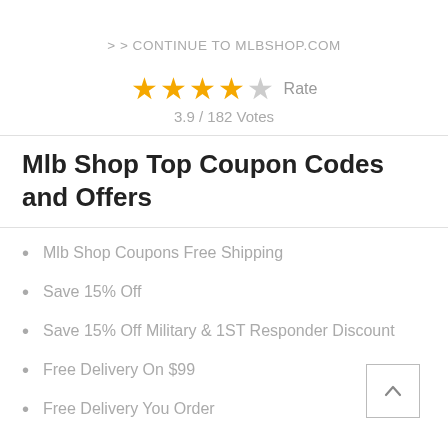> > CONTINUE TO MLBSHOP.COM
[Figure (other): Star rating: 4 filled stars and 1 empty star, with 'Rate' label. Score: 3.9 / 182 Votes]
Mlb Shop Top Coupon Codes and Offers
Mlb Shop Coupons Free Shipping
Save 15% Off
Save 15% Off Military & 1ST Responder Discount
Free Delivery On $99
Free Delivery You Order